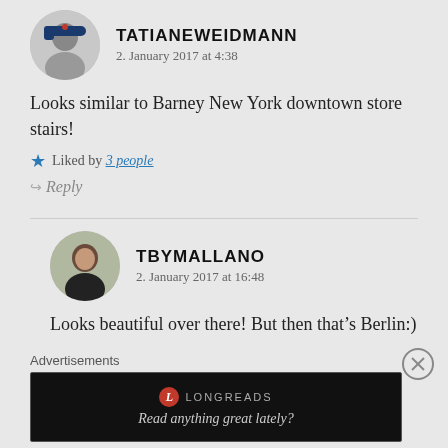[Figure (photo): Avatar photo of TATIANEWEIDMANN, a woman wearing a baseball cap]
TATIANEWEIDMANN
2. January 2017 at 4:38
Looks similar to Barney New York downtown store stairs!
Liked by 3 people
Reply
[Figure (photo): Avatar photo of TBYMALLANO, a woman with dark hair]
TBYMALLANO
2. January 2017 at 16:48
Looks beautiful over there! But then that’s Berlin:)
Advertisements
[Figure (screenshot): Longreads advertisement banner: Read anything great lately?]